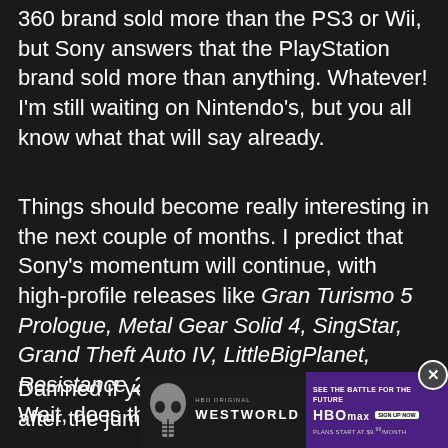360 brand sold more than the PS3 or Wii, but Sony answers that the PlayStation brand sold more than anything. Whatever! I'm still waiting on Nintendo's, but you all know what that will say already.
Things should become really interesting in the next couple of months. I predict that Sony's momentum will continue, with high-profile releases like Gran Turismo 5 Prologue, Metal Gear Solid 4, SingStar, Grand Theft Auto IV, LittleBigPlanet, Resistance 2, and more on the horizon. Wait, does this make me a fanboy?
Damned if you do, right? Full releases after the jump
[Figure (other): Westworld HBO Max advertisement banner with skull imagery on left, Westworld logo in center, and purple panel on right with 'SEE THE BATTLE FOR THE FUTURE', HBO Max logo, 'SIGN UP NOW' button, and 'PLANS START AT $9.99/MONTH' text. Close (X) button in top right corner.]